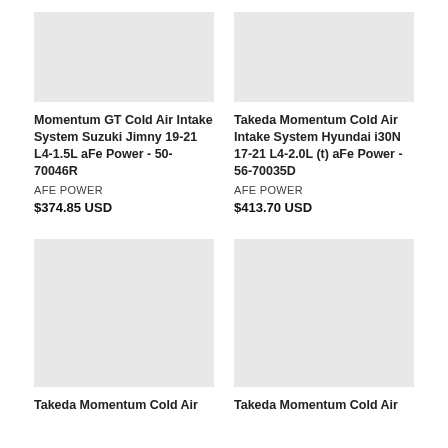[Figure (photo): Product image placeholder for Momentum GT Cold Air Intake System Suzuki Jimny]
[Figure (photo): Product image placeholder for Takeda Momentum Cold Air Intake System Hyundai i30N]
Momentum GT Cold Air Intake System Suzuki Jimny 19-21 L4-1.5L aFe Power - 50-70046R
Takeda Momentum Cold Air Intake System Hyundai i30N 17-21 L4-2.0L (t) aFe Power - 56-70035D
AFE POWER
AFE POWER
$374.85 USD
$413.70 USD
[Figure (photo): Product image placeholder for Takeda Momentum Cold Air (bottom left)]
[Figure (photo): Product image placeholder for Takeda Momentum Cold Air (bottom right)]
Takeda Momentum Cold Air
Takeda Momentum Cold Air